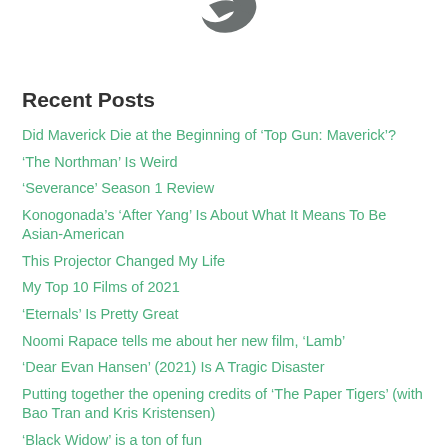[Figure (logo): Partial logo image at top center, grey bird/leaf shape]
Recent Posts
Did Maverick Die at the Beginning of ‘Top Gun: Maverick’?
‘The Northman’ Is Weird
‘Severance’ Season 1 Review
Konogonada’s ‘After Yang’ Is About What It Means To Be Asian-American
This Projector Changed My Life
My Top 10 Films of 2021
‘Eternals’ Is Pretty Great
Noomi Rapace tells me about her new film, ‘Lamb’
‘Dear Evan Hansen’ (2021) Is A Tragic Disaster
Putting together the opening credits of ‘The Paper Tigers’ (with Bao Tran and Kris Kristensen)
‘Black Widow’ is a ton of fun